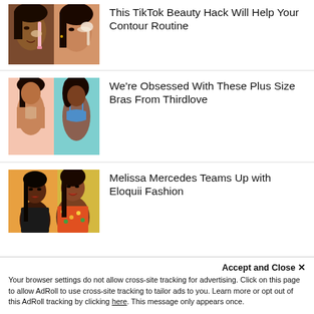[Figure (photo): Two close-up shots of a woman applying makeup/contour product to her face with a beauty sponge]
This TikTok Beauty Hack Will Help Your Contour Routine
[Figure (photo): Two women modeling bras — one in nude/beige, one in blue — plus size]
We're Obsessed With These Plus Size Bras From Thirdlove
[Figure (photo): Two women posing together, one in dark clothing, one in floral outfit — Melissa Mercedes and another person]
Melissa Mercedes Teams Up with Eloquii Fashion
Accept and Close ✕
Your browser settings do not allow cross-site tracking for advertising. Click on this page to allow AdRoll to use cross-site tracking to tailor ads to you. Learn more or opt out of this AdRoll tracking by clicking here. This message only appears once.